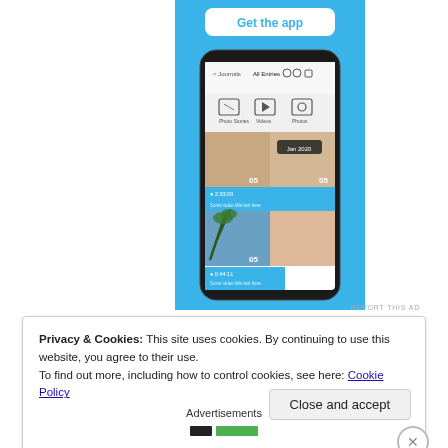[Figure (screenshot): Mobile app advertisement on blue background showing 'Get the app' button and phone mockup displaying a photo journal app interface with photos of people, palm trees, and blue content tiles labeled Jan 2020 with timestamps.]
REPORT THIS AD
Privacy & Cookies: This site uses cookies. By continuing to use this website, you agree to their use.
To find out more, including how to control cookies, see here: Cookie Policy
Close and accept
Advertisements